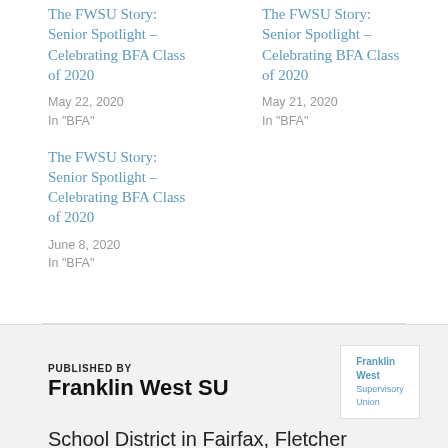The FWSU Story: Senior Spotlight – Celebrating BFA Class of 2020
May 22, 2020
In "BFA"
The FWSU Story: Senior Spotlight – Celebrating BFA Class of 2020
May 21, 2020
In "BFA"
The FWSU Story: Senior Spotlight – Celebrating BFA Class of 2020
June 8, 2020
In "BFA"
PUBLISHED BY
Franklin West SU
School District in Fairfax, Fletcher